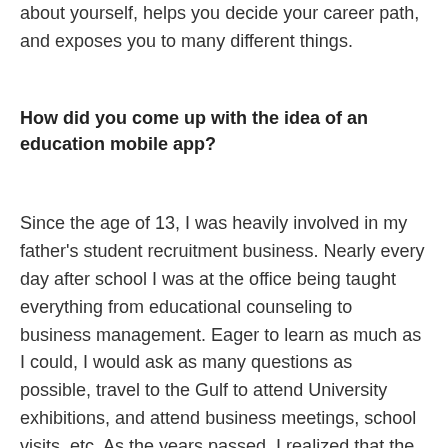about yourself, helps you decide your career path, and exposes you to many different things.
How did you come up with the idea of an education mobile app?
Since the age of 13, I was heavily involved in my father's student recruitment business. Nearly every day after school I was at the office being taught everything from educational counseling to business management. Eager to learn as much as I could, I would ask as many questions as possible, travel to the Gulf to attend University exhibitions, and attend business meetings, school visits, etc. As the years passed, I realized that the student recruitment process as a whole needed a revamp. It was too tedious, complicated, and expensive. I noticed there was a gap in the